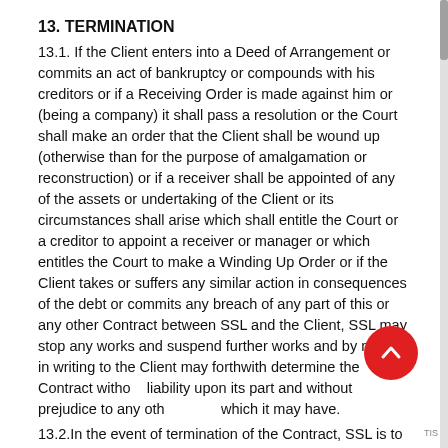13. TERMINATION
13.1. If the Client enters into a Deed of Arrangement or commits an act of bankruptcy or compounds with his creditors or if a Receiving Order is made against him or (being a company) it shall pass a resolution or the Court shall make an order that the Client shall be wound up (otherwise than for the purpose of amalgamation or reconstruction) or if a receiver shall be appointed of any of the assets or undertaking of the Client or its circumstances shall arise which shall entitle the Court or a creditor to appoint a receiver or manager or which entitles the Court to make a Winding Up Order or if the Client takes or suffers any similar action in consequences of the debt or commits any breach of any part of this or any other Contract between SSL and the Client, SSL may stop any works and suspend further works and by notice in writing to the Client may forthwith determine the Contract without liability upon its part and without prejudice to any other rights which it may have.
13.2.In the event of termination of the Contract, SSL is to be